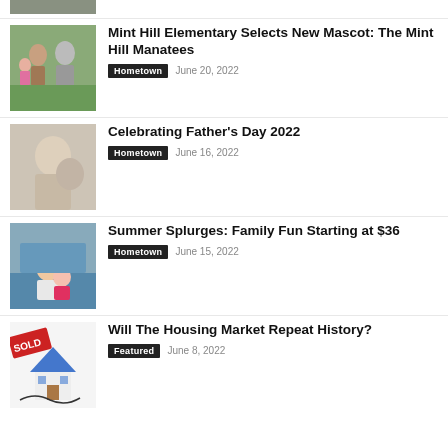[Figure (photo): Partial image at top, cropped]
Mint Hill Elementary Selects New Mascot: The Mint Hill Manatees
Hometown  June 20, 2022
[Figure (photo): Photo of adult and child outdoors]
Celebrating Father's Day 2022
Hometown  June 16, 2022
[Figure (photo): Photo of man and baby at pool]
Summer Splurges: Family Fun Starting at $36
Hometown  June 15, 2022
[Figure (illustration): Housing market graphic with sold sign and house]
Will The Housing Market Repeat History?
Featured  June 8, 2022